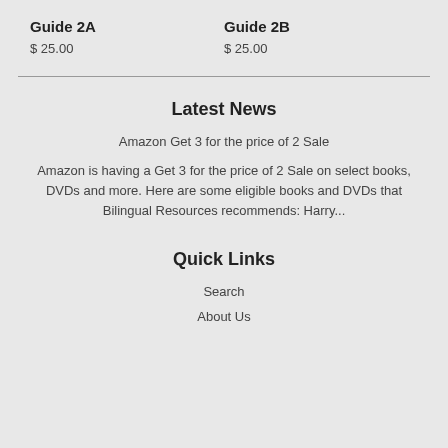Guide 2A
$ 25.00
Guide 2B
$ 25.00
Latest News
Amazon Get 3 for the price of 2 Sale
Amazon is having a Get 3 for the price of 2 Sale on select books, DVDs and more. Here are some eligible books and DVDs that Bilingual Resources recommends: Harry...
Quick Links
Search
About Us